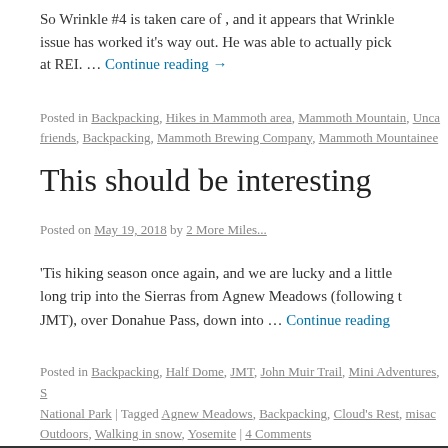So Wrinkle #4 is taken care of , and it appears that Wrinkle issue has worked it's way out. He was able to actually pick at REI. … Continue reading →
Posted in Backpacking, Hikes in Mammoth area, Mammoth Mountain, Unca friends, Backpacking, Mammoth Brewing Company, Mammoth Mountainee
This should be interesting
Posted on May 19, 2018 by 2 More Miles...
'Tis hiking season once again, and we are lucky and a little long trip into the Sierras from Agnew Meadows (following t JMT), over Donahue Pass, down into … Continue reading
Posted in Backpacking, Half Dome, JMT, John Muir Trail, Mini Adventures, S National Park | Tagged Agnew Meadows, Backpacking, Cloud's Rest, misac Outdoors, Walking in snow, Yosemite | 4 Comments